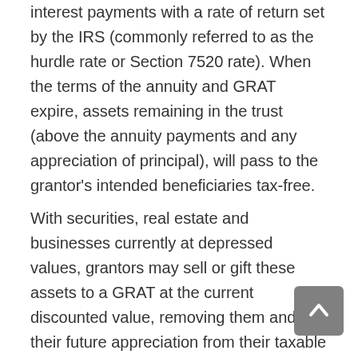interest payments with a rate of return set by the IRS (commonly referred to as the hurdle rate or Section 7520 rate). When the terms of the annuity and GRAT expire, assets remaining in the trust (above the annuity payments and any appreciation of principal), will pass to the grantor's intended beneficiaries tax-free.
With securities, real estate and businesses currently at depressed values, grantors may sell or gift these assets to a GRAT at the current discounted value, removing them and their future appreciation from their taxable estates and allowing for greater leverage on estate freezes. Further discounts for lack